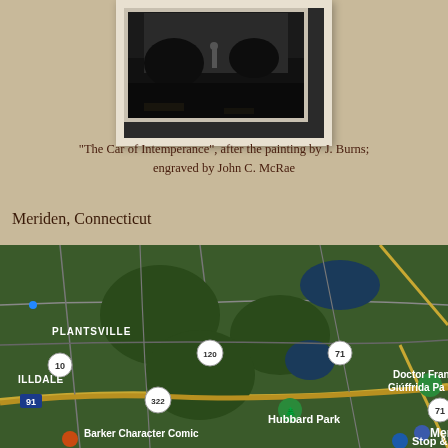[Figure (photo): Framed artwork photograph showing 'The Car of Intemperance', a dark engraving with a figure in a landscape, in a white mat frame]
"The Car of Intemperance", after the painting by J. Burns; engraved by John C. McRae
Meriden, Connecticut
[Figure (map): Google Maps satellite view of Meriden, Connecticut area showing PLANTSVILLE, ILLDALE, route numbers 10, 120, 71, 322, 91, Hubbard Park, Doctor Fran Giuffrida Park, Barker Character Comic and Cartoon Museum, Stop & Shop, and Meriden label]